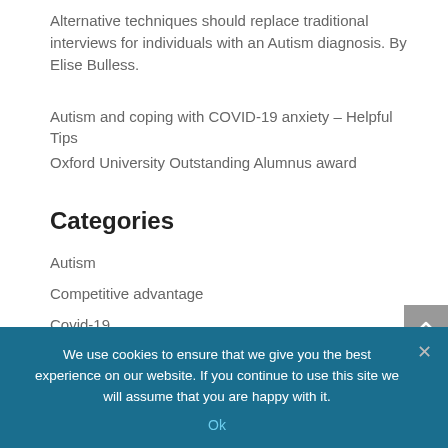Alternative techniques should replace traditional interviews for individuals with an Autism diagnosis. By Elise Bulless.
Autism and coping with COVID-19 anxiety – Helpful Tips
Oxford University Outstanding Alumnus award
Categories
Autism
Competitive advantage
Covid-19
Employment
Events & Awards
We use cookies to ensure that we give you the best experience on our website. If you continue to use this site we will assume that you are happy with it.
Ok